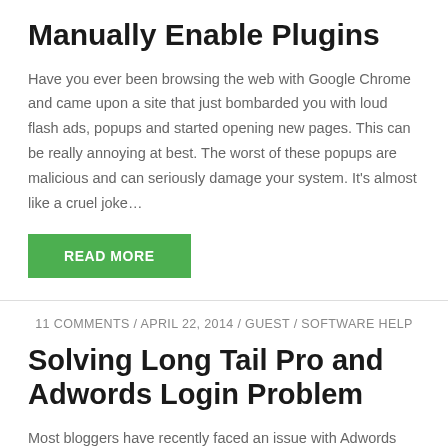Manually Enable Plugins
Have you ever been browsing the web with Google Chrome and came upon a site that just bombarded you with loud flash ads, popups and started opening new pages. This can be really annoying at best. The worst of these popups are malicious and can seriously damage your system. It’s almost like a cruel joke…
READ MORE
11 COMMENTS / APRIL 22, 2014 / GUEST / SOFTWARE HELP
Solving Long Tail Pro and Adwords Login Problem
Most bloggers have recently faced an issue with Adwords Login